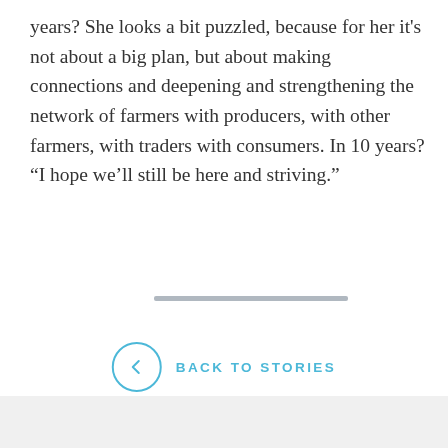years? She looks a bit puzzled, because for her it's not about a big plan, but about making connections and deepening and strengthening the network of farmers with producers, with other farmers, with traders with consumers. In 10 years? “I hope we’ll still be here and striving.”
[Figure (other): Horizontal gray divider line]
[Figure (other): Navigation element: circle with left chevron arrow and text BACK TO STORIES in blue]